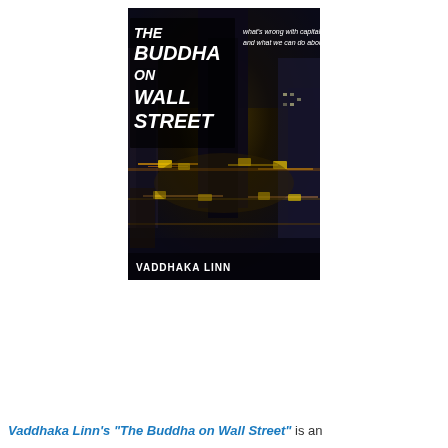[Figure (photo): Book cover of 'The Buddha on Wall Street' by Vaddhaka Linn. Aerial nighttime photo of a busy city intersection (likely New York) with yellow taxis, traffic lights, and skyscrapers. Large bold italic white text reads 'THE BUDDHA ON WALL STREET' with subtitle 'what's wrong with capitalism and what we can do about it'. Author name 'VADDHAKA LINN' at bottom.]
Vaddhaka Linn's “The Buddha on Wall Street” is an